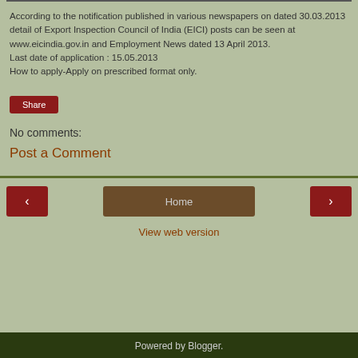According to the notification published in various newspapers on dated 30.03.2013 detail of Export Inspection Council of India (EICI) posts can be seen at www.eicindia.gov.in and Employment News dated 13 April 2013.
Last date of application : 15.05.2013
How to apply-Apply on prescribed format only.
Share
No comments:
Post a Comment
Home
View web version
Powered by Blogger.